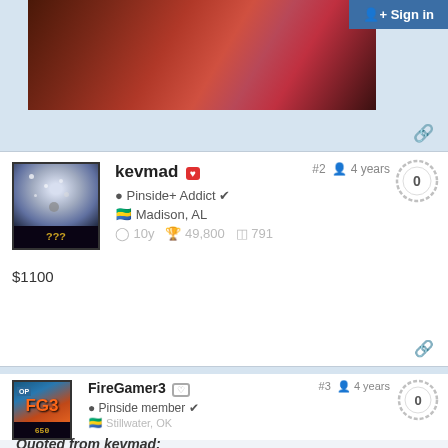[Figure (photo): Pinball machine top photo cropped at top]
Sign in
kevmad #2 4 years 0
Pinside+ Addict ✔
Madison, AL
10y 49,800 791
$1100
FireGamer3 #3 4 years 0
Pinside member ✔
Stillwater, OK
4y 26,800 76 2
Quoted from kevmad: